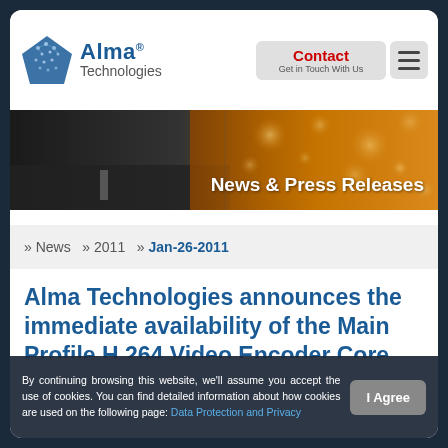[Figure (logo): Alma Technologies logo with blue diamond chip icon and company name]
[Figure (screenshot): Contact button (red text) and hamburger menu button on right side of header]
[Figure (photo): Banner image with dark road/tunnel on left and orange bokeh light background on right, with white text 'News & Press Releases']
» News  » 2011  » Jan-26-2011
Alma Technologies announces the immediate availability of the Main Profile H.264 Video Encoder Core.
By continuing browsing this website, we'll assume you accept the use of cookies. You can find detailed information about how cookies are used on the following page: Data Protection and Privacy